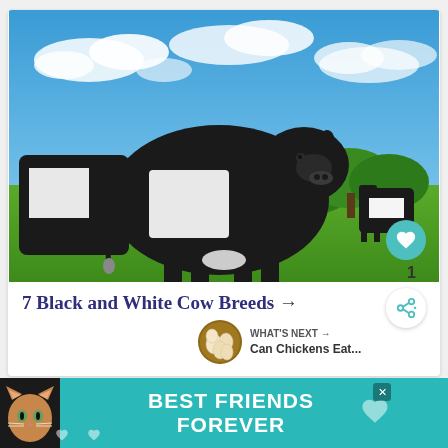[Figure (photo): Belted Galloway black and white cows grazing on a green field under a blue sky with white clouds. A large cow with distinctive white belt around its middle stands prominently in the foreground.]
7 Black and White Cow Breeds →
WHAT'S NEXT → Can Chickens Eat...
[Figure (photo): Circular thumbnail image of eggs (chicken eggs) for the 'What's Next' article preview.]
[Figure (other): Advertisement banner: BEST FRIENDS FOREVER with a cat photo and heart graphics on a teal/turquoise background.]